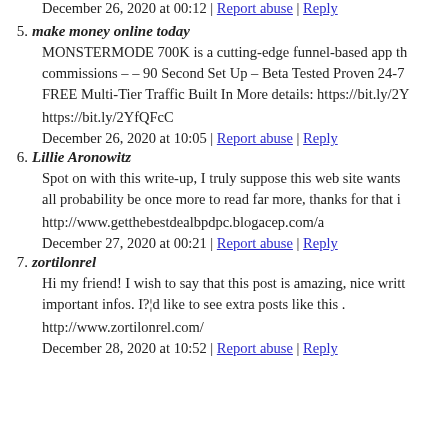December 26, 2020 at 00:12 | Report abuse | Reply
5. make money online today
MONSTERMODE 700K is a cutting-edge funnel-based app th commissions – – 90 Second Set Up – Beta Tested Proven 24-7 FREE Multi-Tier Traffic Built In More details: https://bit.ly/2Y
https://bit.ly/2YfQFcC
December 26, 2020 at 10:05 | Report abuse | Reply
6. Lillie Aronowitz
Spot on with this write-up, I truly suppose this web site wants all probability be once more to read far more, thanks for that i
http://www.getthebestdealbpdpc.blogacep.com/a
December 27, 2020 at 00:21 | Report abuse | Reply
7. zortilonrel
Hi my friend! I wish to say that this post is amazing, nice writt important infos. I?¦d like to see extra posts like this .
http://www.zortilonrel.com/
December 28, 2020 at 10:52 | Report abuse | Reply